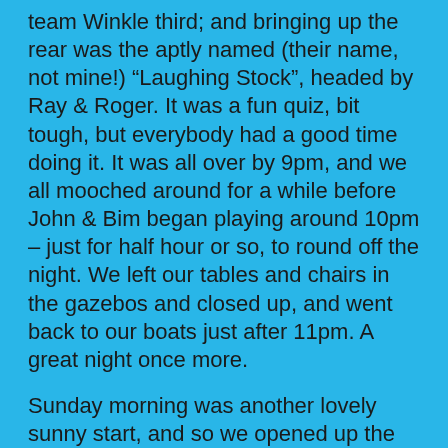team Winkle third; and bringing up the rear was the aptly named (their name, not mine!) “Laughing Stock”, headed by Ray & Roger. It was a fun quiz, bit tough, but everybody had a good time doing it. It was all over by 9pm, and we all mooched around for a while before John & Bim began playing around 10pm – just for half hour or so, to round off the night. We left our tables and chairs in the gazebos and closed up, and went back to our boats just after 11pm. A great night once more.
Sunday morning was another lovely sunny start, and so we opened up the gazebos to let them dry out before starting to dismantle them at around 11am. We put Gazebo no.1 into Tim’s